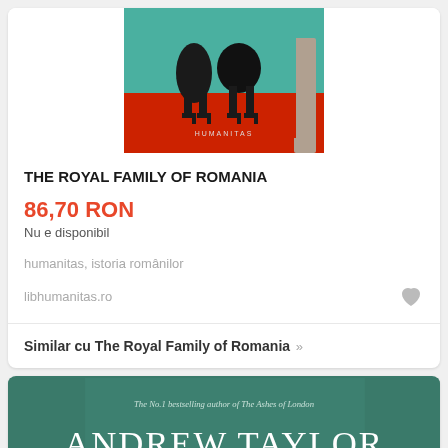[Figure (photo): Book cover image showing legs in high heels on a red surface, with teal/green background, Humanitas publisher label at bottom]
THE ROYAL FAMILY OF ROMANIA
86,70 RON
Nu e disponibil
humanitas, istoria românilor
libhumanitas.ro
Similar cu The Royal Family of Romania »
[Figure (photo): Book cover by Andrew Taylor, The No.1 bestselling author of The Ashes of London, teal/green colored cover]